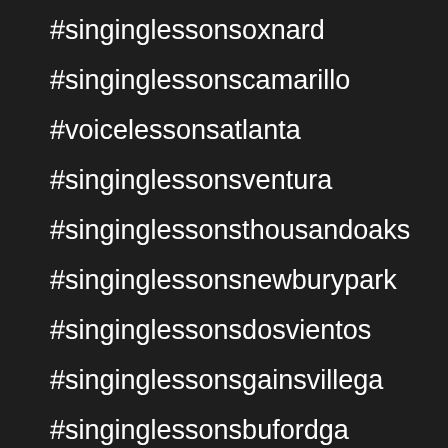#singinglessonsoxnard
#singinglessonscamarillo
#voicelessonsatlanta #singinglessonsventura
#singinglessonsthousandoaks
#singinglessonsnewburypark
#singinglessonsdosvientos
#singinglessonsgainsvillega
#singinglessonsbufordga
#singinglessonsatlanta #pianolessonsoxnard
#pianolessonscamarillo
#pianolessonsventura
#pianolessonsthousandoaks
#pianolessonsnewburypark
#pianolessonsdosvientos
#pianolessonsgainsvillega
#pianolessonsbufordga